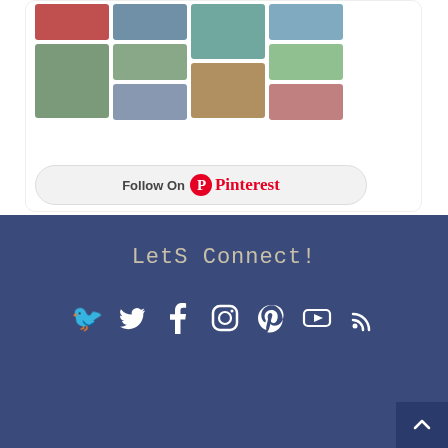[Figure (screenshot): Pinterest widget showing a grid of travel/outdoor photo thumbnails]
Follow On Pinterest
Lets Connect!
[Figure (infographic): Social media icons row: Twitter, Facebook, Instagram, Pinterest, YouTube, RSS]